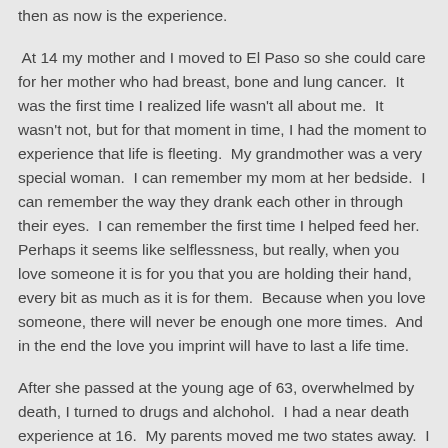then as now is the experience.
At 14 my mother and I moved to El Paso so she could care for her mother who had breast, bone and lung cancer.  It was the first time I realized life wasn't all about me.  It wasn't not, but for that moment in time, I had the moment to experience that life is fleeting.  My grandmother was a very special woman.  I can remember my mom at her bedside.  I can remember the way they drank each other in through their eyes.  I can remember the first time I helped feed her.  Perhaps it seems like selflessness, but really, when you love someone it is for you that you are holding their hand, every bit as much as it is for them.  Because when you love someone, there will never be enough one more times.  And in the end the love you imprint will have to last a life time.
After she passed at the young age of 63, overwhelmed by death, I turned to drugs and alchohol.  I had a near death experience at 16.  My parents moved me two states away.  I believe it is the knowing that love exists and the way they were there for me,